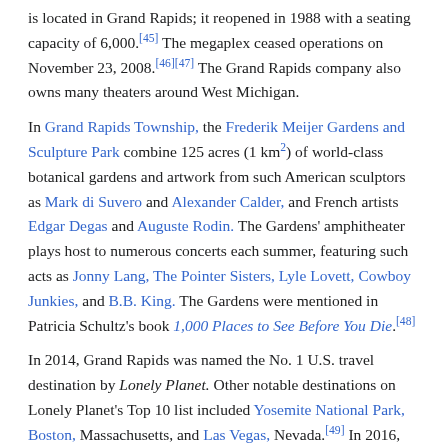is located in Grand Rapids; it reopened in 1988 with a seating capacity of 6,000.[45] The megaplex ceased operations on November 23, 2008.[46][47] The Grand Rapids company also owns many theaters around West Michigan.
In Grand Rapids Township, the Frederik Meijer Gardens and Sculpture Park combine 125 acres (1 km2) of world-class botanical gardens and artwork from such American sculptors as Mark di Suvero and Alexander Calder, and French artists Edgar Degas and Auguste Rodin. The Gardens' amphitheater plays host to numerous concerts each summer, featuring such acts as Jonny Lang, The Pointer Sisters, Lyle Lovett, Cowboy Junkies, and B.B. King. The Gardens were mentioned in Patricia Schultz's book 1,000 Places to See Before You Die.[48]
In 2014, Grand Rapids was named the No. 1 U.S. travel destination by Lonely Planet. Other notable destinations on Lonely Planet's Top 10 list included Yosemite National Park, Boston, Massachusetts, and Las Vegas, Nevada.[49] In 2016, The New York Times ranked Grand Rapids 20th on the 52 Places to Go in 2016 list, with Grand Rapids featured among other cities such as Abu Dhabi, Bordeaux and...